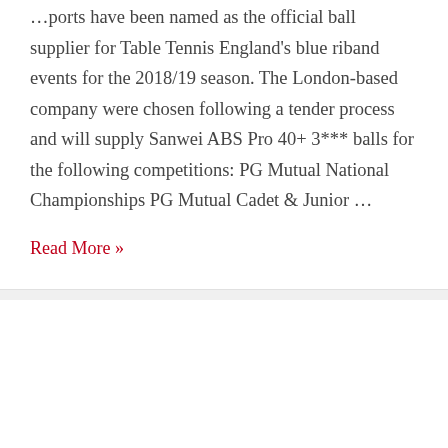…ports have been named as the official ball supplier for Table Tennis England's blue riband events for the 2018/19 season. The London-based company were chosen following a tender process and will supply Sanwei ABS Pro 40+ 3*** balls for the following competitions: PG Mutual National Championships PG Mutual Cadet & Junior …
Read More »